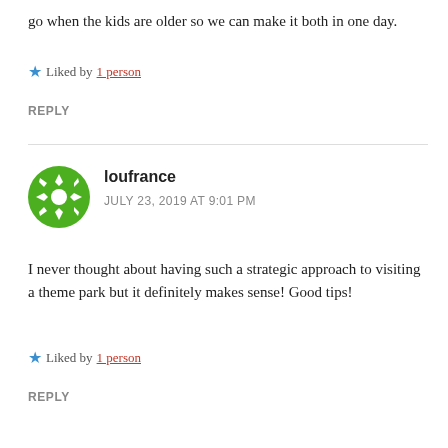go when the kids are older so we can make it both in one day.
Liked by 1 person
REPLY
[Figure (illustration): Green snowflake/decorative avatar icon for user loufrance]
loufrance
JULY 23, 2019 AT 9:01 PM
I never thought about having such a strategic approach to visiting a theme park but it definitely makes sense! Good tips!
Liked by 1 person
REPLY